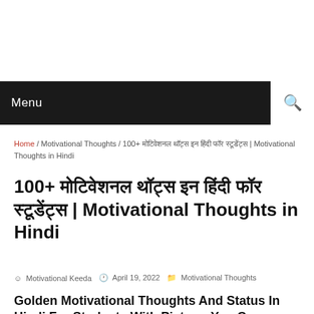Menu
Home / Motivational Thoughts / 100+ मोटिवेशनल थॉट्स इन हिंदी फॉर स्टूडेंट्स | Motivational Thoughts in Hindi
100+ मोटिवेशनल थॉट्स इन हिंदी फॉर स्टूडेंट्स | Motivational Thoughts in Hindi
Motivational Keeda  April 19, 2022  Motivational Thoughts
Golden Motivational Thoughts And Status In Hindi For Students With Picture, You Can